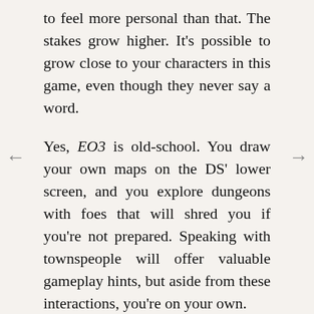to feel more personal than that. The stakes grow higher. It's possible to grow close to your characters in this game, even though they never say a word.
Yes, EO3 is old-school. You draw your own maps on the DS' lower screen, and you explore dungeons with foes that will shred you if you're not prepared. Speaking with townspeople will offer valuable gameplay hints, but aside from these interactions, you're on your own.
More interesting than the fact that you must draw your own maps is the question of why you must draw them. The answer is simple: investment. You care about EO3's environments